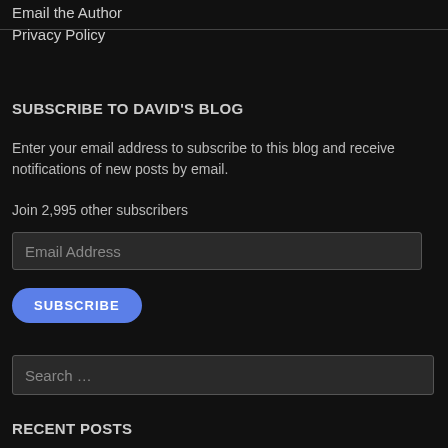Email the Author
Privacy Policy
SUBSCRIBE TO DAVID'S BLOG
Enter your email address to subscribe to this blog and receive notifications of new posts by email.
Join 2,995 other subscribers
[Figure (screenshot): Email Address input field (text box)]
[Figure (screenshot): SUBSCRIBE button (blue rounded button)]
[Figure (screenshot): Search ... input field (text box)]
RECENT POSTS